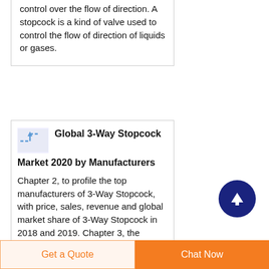control over the flow of direction. A stopcock is a kind of valve used to control the flow of direction of liquids or gases.
Global 3-Way Stopcock Market 2020 by Manufacturers
Chapter 2, to profile the top manufacturers of 3-Way Stopcock, with price, sales, revenue and global market share of 3-Way Stopcock in 2018 and 2019. Chapter 3, the
Get a Quote   Chat Now